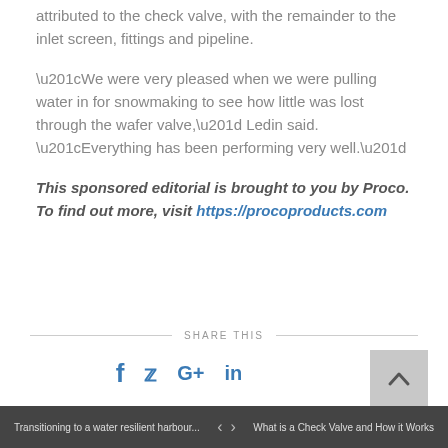attributed to the check valve, with the remainder to the inlet screen, fittings and pipeline.
“We were very pleased when we were pulling water in for snowmaking to see how little was lost through the wafer valve,” Ledin said. “Everything has been performing very well.”
This sponsored editorial is brought to you by Proco. To find out more, visit https://procoproducts.com
SHARE THIS
Transitioning to a water resilient harbour... < > What is a Check Valve and How it Works